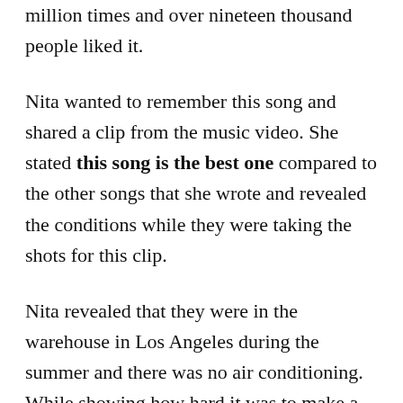million times and over nineteen thousand people liked it.
Nita wanted to remember this song and shared a clip from the music video. She stated this song is the best one compared to the other songs that she wrote and revealed the conditions while they were taking the shots for this clip.
Nita revealed that they were in the warehouse in Los Angeles during the summer and there was no air conditioning. While showing how hard it was to make a music video, she also thanked her boyfriend and drummer who helped with everything, Josh Villalta.